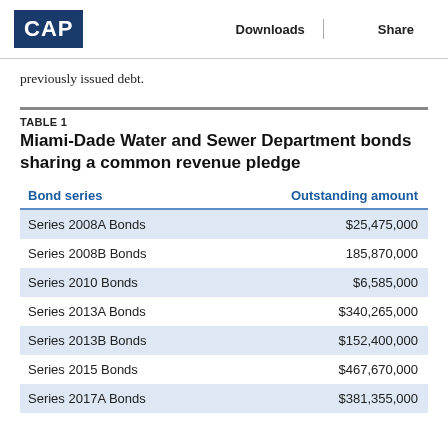CAP | Downloads | Share
previously issued debt.
TABLE 1
Miami-Dade Water and Sewer Department bonds sharing a common revenue pledge
| Bond series | Outstanding amount |
| --- | --- |
| Series 2008A Bonds | $25,475,000 |
| Series 2008B Bonds | 185,870,000 |
| Series 2010 Bonds | $6,585,000 |
| Series 2013A Bonds | $340,265,000 |
| Series 2013B Bonds | $152,400,000 |
| Series 2015 Bonds | $467,670,000 |
| Series 2017A Bonds | $381,355,000 |